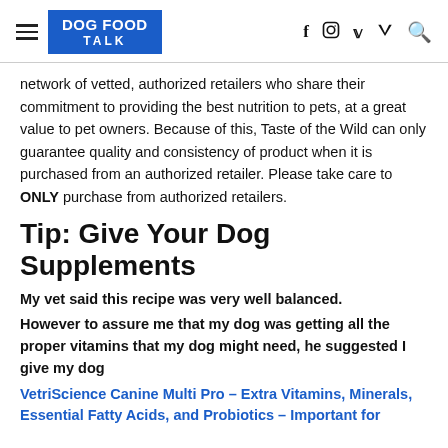DOG FOOD TALK
network of vetted, authorized retailers who share their commitment to providing the best nutrition to pets, at a great value to pet owners. Because of this, Taste of the Wild can only guarantee quality and consistency of product when it is purchased from an authorized retailer. Please take care to ONLY purchase from authorized retailers.
Tip: Give Your Dog Supplements
My vet said this recipe was very well balanced.
However to assure me that my dog was getting all the proper vitamins that my dog might need, he suggested I give my dog
VetriScience Canine Multi Pro – Extra Vitamins, Minerals, Essential Fatty Acids, and Probiotics – Important for